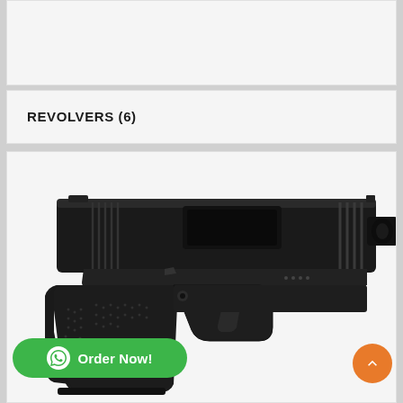[Figure (other): Empty white card area at top of page]
REVOLVERS (6)
[Figure (photo): Close-up photograph of a black semi-automatic pistol (Glock-style) on a white background, showing the slide, barrel, trigger, and grip from the left side]
Order Now!